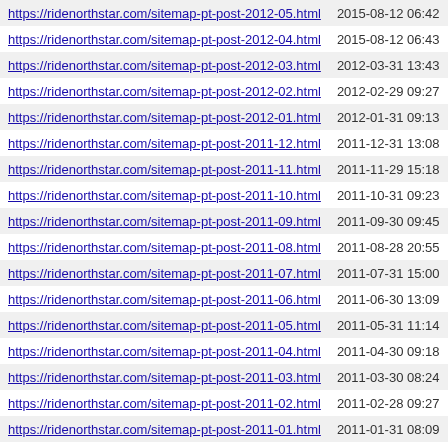| URL | Last Modified |
| --- | --- |
| https://ridenorthstar.com/sitemap-pt-post-2012-05.html | 2015-08-12 06:42 |
| https://ridenorthstar.com/sitemap-pt-post-2012-04.html | 2015-08-12 06:43 |
| https://ridenorthstar.com/sitemap-pt-post-2012-03.html | 2012-03-31 13:43 |
| https://ridenorthstar.com/sitemap-pt-post-2012-02.html | 2012-02-29 09:27 |
| https://ridenorthstar.com/sitemap-pt-post-2012-01.html | 2012-01-31 09:13 |
| https://ridenorthstar.com/sitemap-pt-post-2011-12.html | 2011-12-31 13:08 |
| https://ridenorthstar.com/sitemap-pt-post-2011-11.html | 2011-11-29 15:18 |
| https://ridenorthstar.com/sitemap-pt-post-2011-10.html | 2011-10-31 09:23 |
| https://ridenorthstar.com/sitemap-pt-post-2011-09.html | 2011-09-30 09:45 |
| https://ridenorthstar.com/sitemap-pt-post-2011-08.html | 2011-08-28 20:55 |
| https://ridenorthstar.com/sitemap-pt-post-2011-07.html | 2011-07-31 15:00 |
| https://ridenorthstar.com/sitemap-pt-post-2011-06.html | 2011-06-30 13:09 |
| https://ridenorthstar.com/sitemap-pt-post-2011-05.html | 2011-05-31 11:14 |
| https://ridenorthstar.com/sitemap-pt-post-2011-04.html | 2011-04-30 09:18 |
| https://ridenorthstar.com/sitemap-pt-post-2011-03.html | 2011-03-30 08:24 |
| https://ridenorthstar.com/sitemap-pt-post-2011-02.html | 2011-02-28 09:27 |
| https://ridenorthstar.com/sitemap-pt-post-2011-01.html | 2011-01-31 08:09 |
| https://ridenorthstar.com/sitemap-pt-post-2010-12.html | 2010-12-31 11:16 |